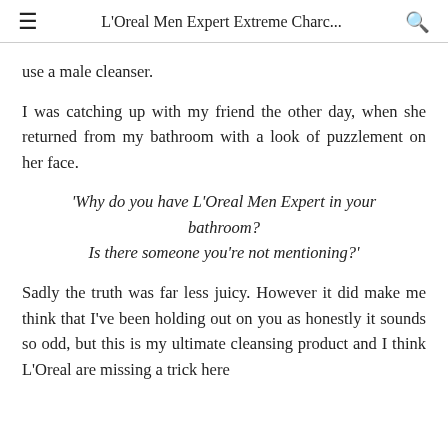≡   L'Oreal Men Expert Extreme Charc...   🔍
use a male cleanser.
I was catching up with my friend the other day, when she returned from my bathroom with a look of puzzlement on her face.
'Why do you have L'Oreal Men Expert in your bathroom?
Is there someone you're not mentioning?'
Sadly the truth was far less juicy. However it did make me think that I've been holding out on you as honestly it sounds so odd, but this is my ultimate cleansing product and I think L'Oreal are missing a trick here